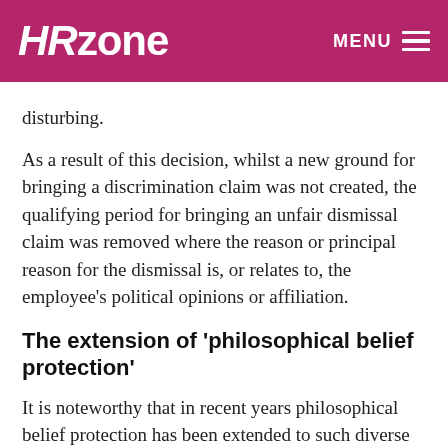HRzone MENU
disturbing.
As a result of this decision, whilst a new ground for bringing a discrimination claim was not created, the qualifying period for bringing an unfair dismissal claim was removed where the reason or principal reason for the dismissal is, or relates to, the employee's political opinions or affiliation.
The extension of 'philosophical belief protection'
It is noteworthy that in recent years philosophical belief protection has been extended to such diverse personal views as a belief in climate change, a belief